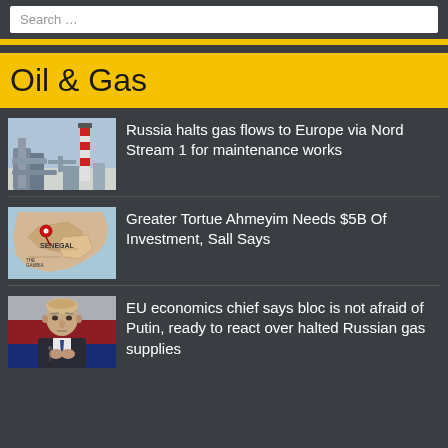Search …
Oil & Gas
[Figure (photo): Industrial gas pipeline facility with red and white striped chimney in background]
Russia halts gas flows to Europe via Nord Stream 1 for maintenance works
[Figure (photo): Map of Senegal region with a red pin marker]
Greater Tortue Ahmeyim Needs $5B Of Investment, Sall Says
[Figure (photo): Portrait of Vladimir Putin with Russian flag colors in background]
EU economics chief says bloc is not afraid of Putin, ready to react over halted Russian gas supplies